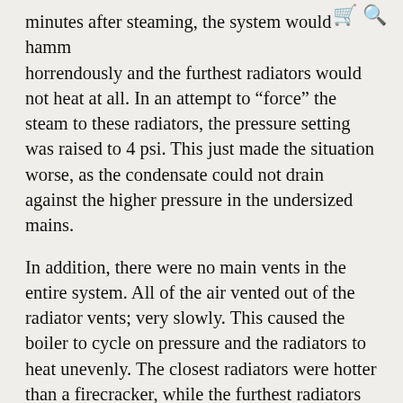[cart icon] [search icon]
minutes after steaming, the system would hammer horrendously and the furthest radiators would not heat at all. In an attempt to “force” the steam to these radiators, the pressure setting was raised to 4 psi. This just made the situation worse, as the condensate could not drain against the higher pressure in the undersized mains.
In addition, there were no main vents in the entire system. All of the air vented out of the radiator vents; very slowly. This caused the boiler to cycle on pressure and the radiators to heat unevenly. The closest radiators were hotter than a firecracker, while the furthest radiators remained stone cold. Because of the age of the house and settling, two of the runouts to the radiators were actually pitched the wrong direction causing condensate to puddle and hammer.
After surveying the system and sketching out a piping